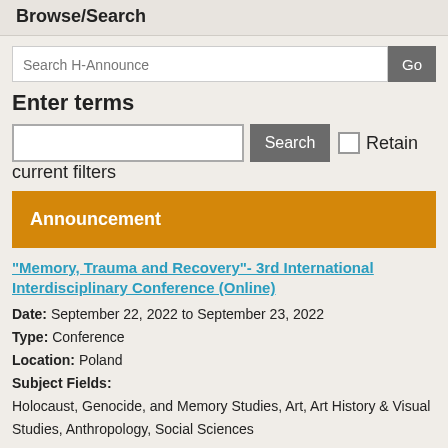Browse/Search
Search H-Announce
Enter terms
Search  Retain current filters
Announcement
"Memory, Trauma and Recovery"- 3rd International Interdisciplinary Conference (Online)
Date: September 22, 2022 to September 23, 2022
Type: Conference
Location: Poland
Subject Fields:
Holocaust, Genocide, and Memory Studies, Art, Art History & Visual Studies, Anthropology, Social Sciences